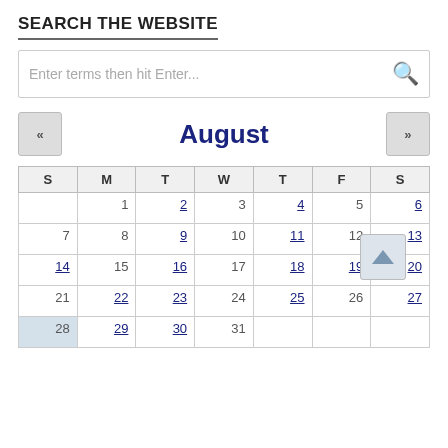SEARCH THE WEBSITE
Enter terms then hit Enter...
[Figure (other): August calendar widget with navigation arrows. Shows month August with days arranged in S M T W T F S columns. Linked dates: 2, 4, 6, 9, 11, 13, 14, 16, 18, 19, 20, 22, 23, 25, 27, 29, 30. Row starting 28 has highlighted Sunday cell.]
| S | M | T | W | T | F | S |
| --- | --- | --- | --- | --- | --- | --- |
|  | 1 | 2 | 3 | 4 | 5 | 6 |
| 7 | 8 | 9 | 10 | 11 | 12 | 13 |
| 14 | 15 | 16 | 17 | 18 | 19 | 20 |
| 21 | 22 | 23 | 24 | 25 | 26 | 27 |
| 28 | 29 | 30 | 31 |  |  |  |